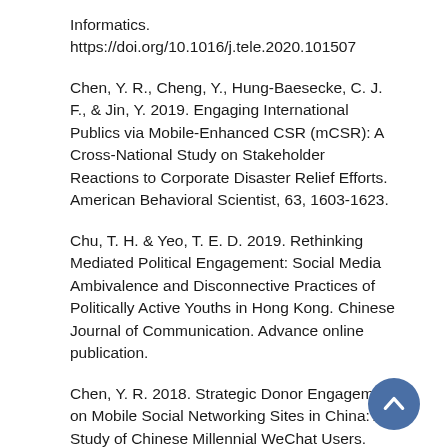Informatics. https://doi.org/10.1016/j.tele.2020.101507
Chen, Y. R., Cheng, Y., Hung-Baesecke, C. J. F., & Jin, Y. 2019. Engaging International Publics via Mobile-Enhanced CSR (mCSR): A Cross-National Study on Stakeholder Reactions to Corporate Disaster Relief Efforts. American Behavioral Scientist, 63, 1603-1623.
Chu, T. H. & Yeo, T. E. D. 2019. Rethinking Mediated Political Engagement: Social Media Ambivalence and Disconnective Practices of Politically Active Youths in Hong Kong. Chinese Journal of Communication. Advance online publication.
Chen, Y. R. 2018. Strategic Donor Engagement on Mobile Social Networking Sites in China: A Study of Chinese Millennial WeChat Users. Chinese Journal of Communication, 11(1), 26-44. Doi: